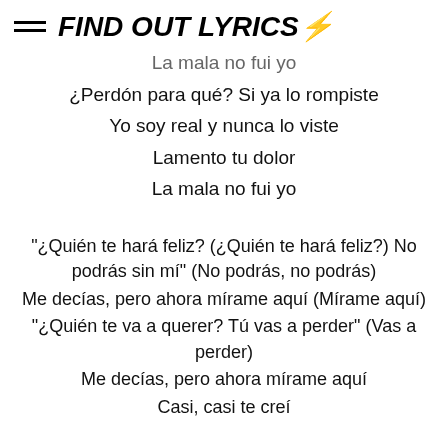FIND OUT LYRICS⚡
La mala no fui yo
¿Perdón para qué? Si ya lo rompiste
Yo soy real y nunca lo viste
Lamento tu dolor
La mala no fui yo
"¿Quién te hará feliz? (¿Quién te hará feliz?) No podrás sin mí" (No podrás, no podrás)
Me decías, pero ahora mírame aquí (Mírame aquí)
"¿Quién te va a querer? Tú vas a perder" (Vas a perder)
Me decías, pero ahora mírame aquí
Casi, casi te creí